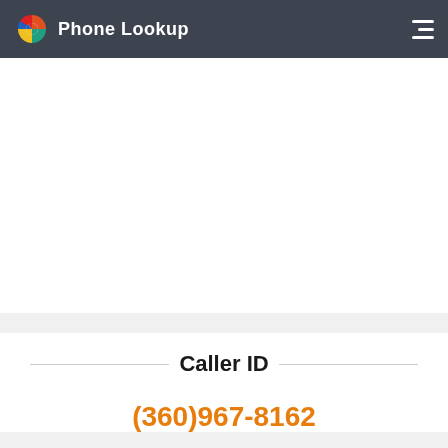Phone Lookup
Caller ID
(360)967-8162
Vancouver, Washington